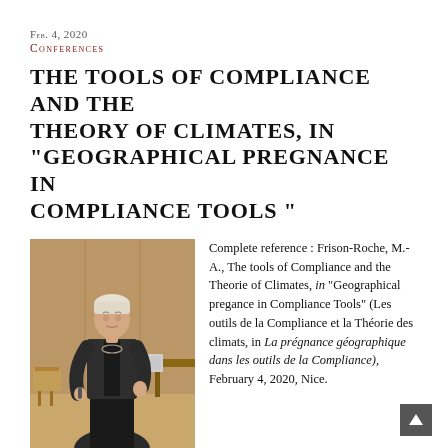Feb. 4, 2020
Conferences
THE TOOLS OF COMPLIANCE AND THE THEORY OF CLIMATES, IN "GEOGRAPHICAL PREGNANCE IN COMPLIANCE TOOLS"
[Figure (photo): A woman in dark clothing speaking at a conference podium, with a wood-paneled wall and a chair visible in the background.]
Complete reference : Frison-Roche, M.-A., The tools of Compliance and the Theorie of Climates, in "Geographical pregance in Compliance Tools" (Les outils de la Compliance et la Théorie des climats, in La prégnance géographique dans les outils de la Compliance), February 4, 2020, Nice.